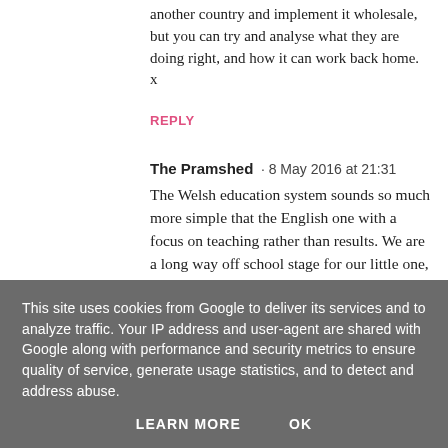another country and implement it wholesale, but you can try and analyse what they are doing right, and how it can work back home. x
REPLY
The Pramshed · 8 May 2016 at 21:31
The Welsh education system sounds so much more simple that the English one with a focus on teaching rather than results. We are a long way off school stage for our little one, but I am sure that it will come round really quicky. Claire x #KCACOLS
This site uses cookies from Google to deliver its services and to analyze traffic. Your IP address and user-agent are shared with Google along with performance and security metrics to ensure quality of service, generate usage statistics, and to detect and address abuse.
LEARN MORE   OK